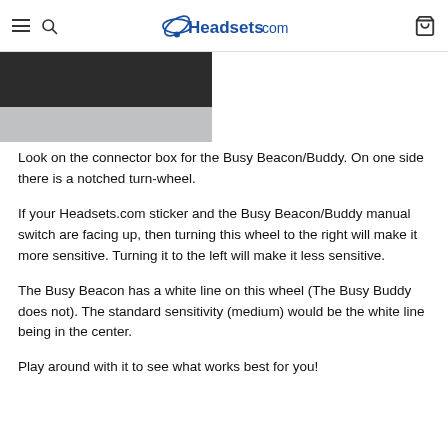Headsets.com
[Figure (photo): Product photo showing the bottom/side of a dark connector box on a gray surface]
Look on the connector box for the Busy Beacon/Buddy. On one side there is a notched turn-wheel.
If your Headsets.com sticker and the Busy Beacon/Buddy manual switch are facing up, then turning this wheel to the right will make it more sensitive. Turning it to the left will make it less sensitive.
The Busy Beacon has a white line on this wheel (The Busy Buddy does not). The standard sensitivity (medium) would be the white line being in the center.
Play around with it to see what works best for you!